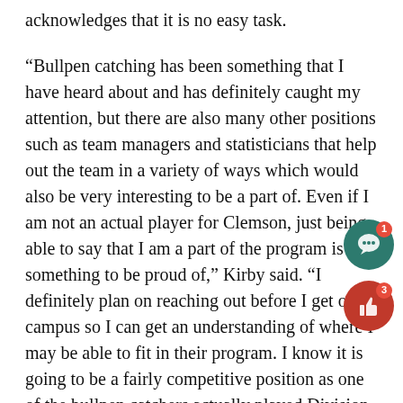acknowledges that it is no easy task.
“Bullpen catching has been something that I have heard about and has definitely caught my attention, but there are also many other positions such as team managers and statisticians that help out the team in a variety of ways which would also be very interesting to be a part of. Even if I am not an actual player for Clemson, just being able to say that I am a part of the program is something to be proud of,” Kirby said. “I definitely plan on reaching out before I get on campus so I can get an understanding of where I may be able to fit in their program. I know it is going to be a fairly competitive position as one of the bullpen catchers actually played Division II baseball before transferring to Clemson so even the bullpen catchers are no joke as players.”
Kirby is excited for the opportunities ahead to continue playing or being around the sport he loves in some way, hopes it is something that will better him as a person as he